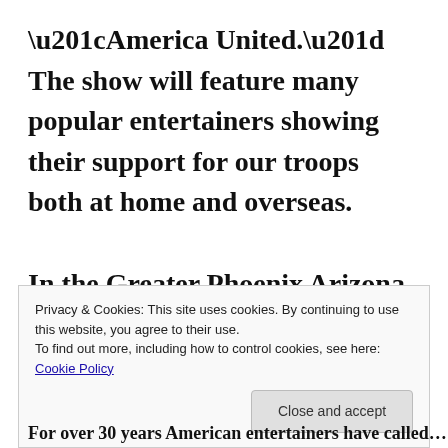“America United.”  The show will feature many popular entertainers showing their support for our troops both at home and overseas.

In the Greater Phoenix Arizona area the show will air on ABC 15 KNXV at 8:00 PM.
Privacy & Cookies: This site uses cookies. By continuing to use this website, you agree to their use.
To find out more, including how to control cookies, see here: Cookie Policy
Close and accept
For over 30 years American entertainers have called...